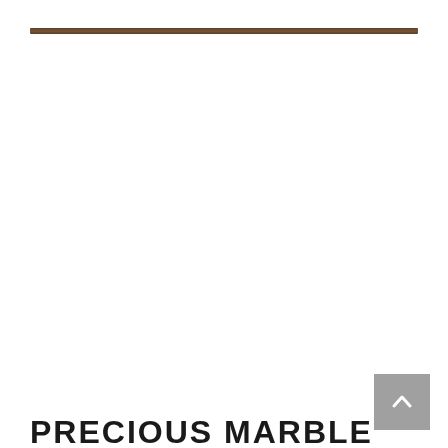[Figure (other): Horizontal decorative brown/bronze rule line near top of page]
[Figure (other): Gray square back-to-top button with upward chevron arrow]
PRECIOUS MARBLE